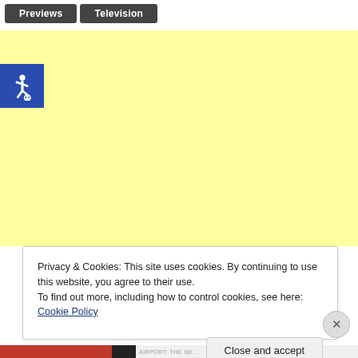Previews | Television
[Figure (other): Yellow background area with blue accessibility icon (wheelchair symbol) in top-left corner]
Privacy & Cookies: This site uses cookies. By continuing to use this website, you agree to their use.
To find out more, including how to control cookies, see here: Cookie Policy
Close and accept